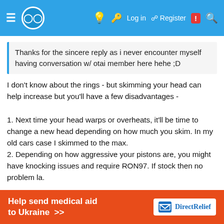Navigation bar with menu, logo, light bulb icon, key icon, Log in, Register, alert, search
Thanks for the sincere reply as i never encounter myself having conversation w/ otai member here hehe ;D
I don't know about the rings - but skimming your head can help increase but you'll have a few disadvantages -

1. Next time your head warps or overheats, it'll be time to change a new head depending on how much you skim. In my old cars case I skimmed to the max.
2. Depending on how aggressive your pistons are, you might have knocking issues and require RON97. If stock then no problem la.

And I think what you want is high compression pistons, not piston rings. Kembara pistons are slightly domed and can help you increase your compression. Alternatively you can stroke it with a Waja 4G18 crankshaft usually paired with Saga CPS
[Figure (screenshot): Orange advertisement banner: Help send medical aid to Ukraine >> with DirectRelief logo]